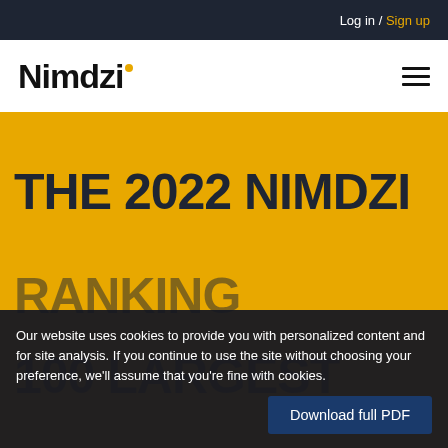Log in / Sign up
[Figure (logo): Nimdzi logo with yellow dot above the i, and hamburger menu icon on the right]
THE 2022 NIMDZI
RANKING
100 LARGEST
Our website uses cookies to provide you with personalized content and for site analysis. If you continue to use the site without choosing your preference, we'll assume that you're fine with cookies.
Download full PDF